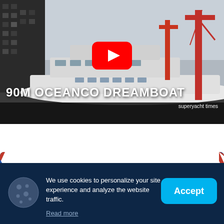[Figure (screenshot): YouTube video thumbnail showing a large 90m superyacht (Oceanco Dreamboat) being launched at a shipyard with cranes visible. A red YouTube play button icon is centered. Text overlay reads '90M OCEANCO DREAMBOAT' and 'superyacht times'. The scene is in muted tones with a dark bottom bar.]
[Figure (infographic): Cookie consent banner overlay on a dark navy background (#0d2645). Contains a cookie icon on the left, text 'We use cookies to personalize your site experience and analyze the website traffic.' with a 'Read more' underlined link, and a cyan 'Accept' button on the right. Above the overlay is a red-white-blue diagonal striped banner pattern.]